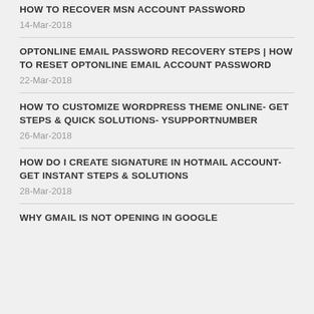HOW TO RECOVER MSN ACCOUNT PASSWORD
14-Mar-2018
OPTONLINE EMAIL PASSWORD RECOVERY STEPS | HOW TO RESET OPTONLINE EMAIL ACCOUNT PASSWORD
22-Mar-2018
HOW TO CUSTOMIZE WORDPRESS THEME ONLINE- GET STEPS & QUICK SOLUTIONS- YSUPPORTNUMBER
26-Mar-2018
HOW DO I CREATE SIGNATURE IN HOTMAIL ACCOUNT- GET INSTANT STEPS & SOLUTIONS
28-Mar-2018
WHY GMAIL IS NOT OPENING IN GOOGLE